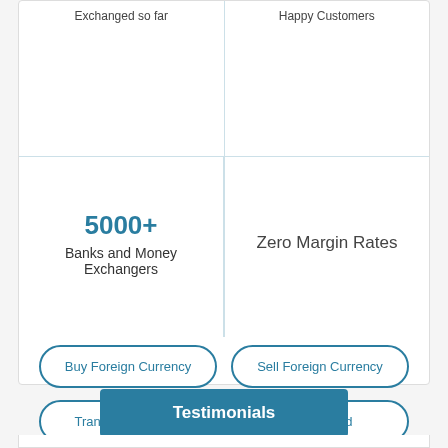Exchanged so far
Happy Customers
5000+
Banks and Money Exchangers
Zero Margin Rates
Buy Foreign Currency
Sell Foreign Currency
Transfer US Dollar
Forex Card
Testimonials